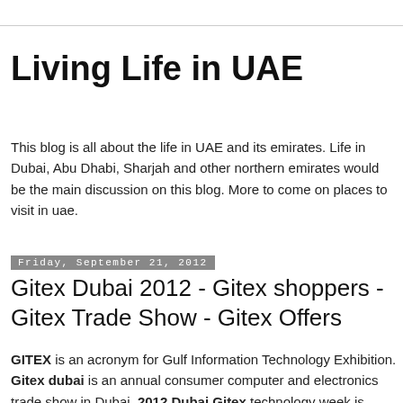Living Life in UAE
This blog is all about the life in UAE and its emirates. Life in Dubai, Abu Dhabi, Sharjah and other northern emirates would be the main discussion on this blog. More to come on places to visit in uae.
Friday, September 21, 2012
Gitex Dubai 2012 - Gitex shoppers - Gitex Trade Show - Gitex Offers
GITEX is an acronym for Gulf Information Technology Exhibition. Gitex dubai is an annual consumer computer and electronics trade show in Dubai. 2012 Dubai Gitex technology week is supposed to take place from 14th to 18th October 2014. Gitex draws & receives attention at & different...